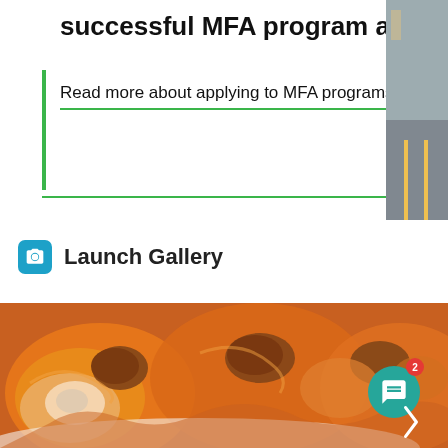successful MFA program application.
Read more about applying to MFA programs.
Launch Gallery
[Figure (photo): Close-up photo of food items with orange/caramel glaze, possibly fried chicken or similar dish in plastic/gel containers, served on a white plate]